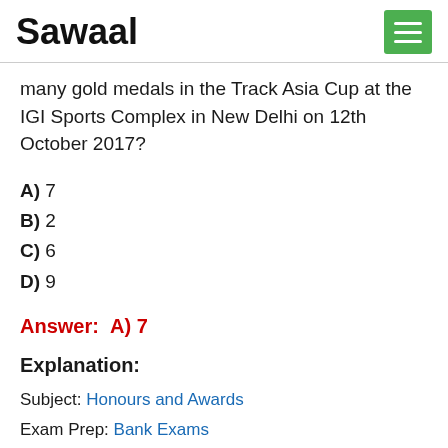Sawaal
many gold medals in the Track Asia Cup at the IGI Sports Complex in New Delhi on 12th October 2017?
A) 7
B) 2
C) 6
D) 9
Answer:  A) 7
Explanation:
Subject: Honours and Awards
Exam Prep: Bank Exams